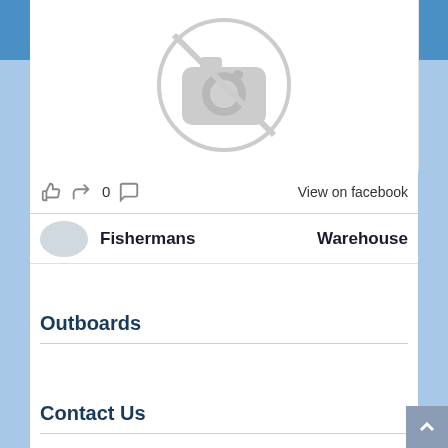[Figure (screenshot): No-photo placeholder icon: grey camera with a diagonal line through it inside a circle]
0   View on facebook
Fishermans   Warehouse
Outboards
Contact Us